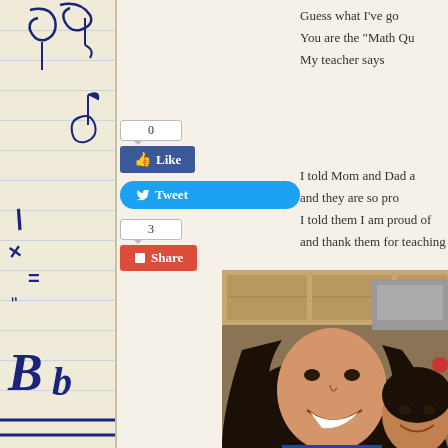[Figure (illustration): Decorative left strip with lined paper background and blue handwritten math symbols, letters (Bb), musical notes, and equations]
[Figure (other): Facebook Like button with count 0, Twitter Tweet button, Google+1 Share button with count 3]
Guess what I've go... You are the "Math Qu... My teacher says...
I told Mom and Dad a... and they are so pro... I told them I am proud of... and thank them for teaching...
[Figure (photo): A smiling woman with dark hair and a young child, selfie photo taken in a kitchen]